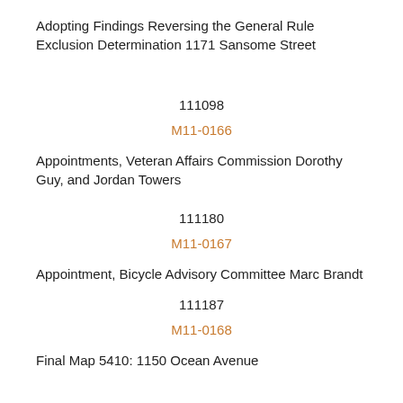Adopting Findings Reversing the General Rule Exclusion Determination 1171 Sansome Street
111098
M11-0166
Appointments, Veteran Affairs Commission Dorothy Guy, and Jordan Towers
111180
M11-0167
Appointment, Bicycle Advisory Committee Marc Brandt
111187
M11-0168
Final Map 5410: 1150 Ocean Avenue
111206
M11-0169
Final Map 5165: Mission Bay